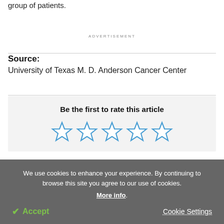group of patients.
ADVERTISEMENT
Source:
University of Texas M. D. Anderson Cancer Center
Be the first to rate this article
[Figure (other): Five empty blue star rating icons]
We use cookies to enhance your experience. By continuing to browse this site you agree to our use of cookies. More info.
✔ Accept   Cookie Settings